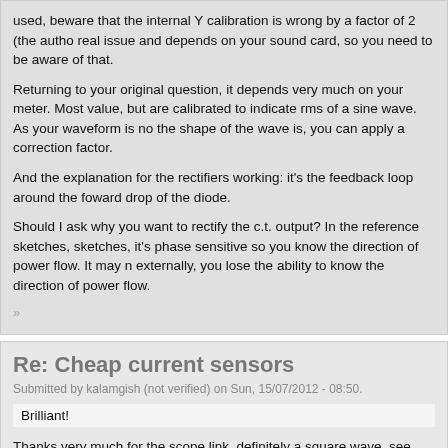used, beware that the internal Y calibration is wrong by a factor of 2 (the autho real issue and depends on your sound card, so you need to be aware of that.
Returning to your original question, it depends very much on your meter. Most value, but are calibrated to indicate rms of a sine wave. As your waveform is no the shape of the wave is, you can apply a correction factor.
And the explanation for the rectifiers working: it’s the feedback loop around the foward drop of the diode.
Should I ask why you want to rectify the c.t. output? In the reference sketches, sketches, it’s phase sensitive so you know the direction of power flow. It may n externally, you lose the ability to know the direction of power flow.
Re: Cheap current sensors
Submitted by kalamgish (not verified) on Sun, 15/07/2012 - 08:50.
Brilliant!
Thanks very much for the scope link, definitely a square wave, see below.
The reason for rectification... my understanding is that the atmega/arduino ana
Direction of power seems to be sorted out by the placement of the sensors, ag proportional to the PV generation the other proportional to the usage, this seem the same wire, this was achieved by luck more than anything as there are only
Anyway.. I have a working system.